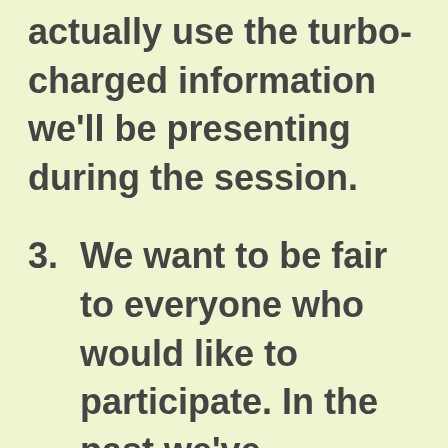actually use the turbo-charged information we'll be presenting during the session.
3. We want to be fair to everyone who would like to participate. In the past we've sometimes had free